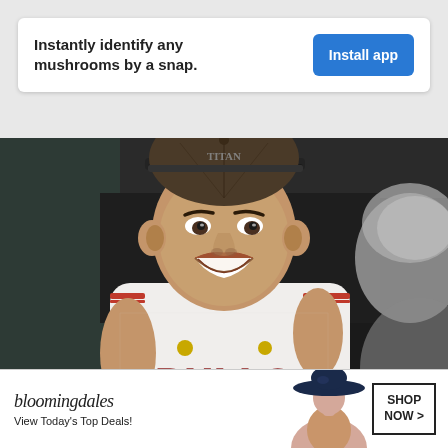[Figure (other): App advertisement banner with text 'Instantly identify any mushrooms by a snap.' and a blue 'Install app' button on a white card background]
[Figure (photo): A smiling man wearing a Chicago Bulls white basketball jersey and a snapback cap, photographed indoors. Another person with gray hair is partially visible on the right side of the frame.]
[Figure (other): Bloomingdale's advertisement banner with logo, text 'View Today's Top Deals!', an image of a woman in a hat, and a 'SHOP NOW >' button box]